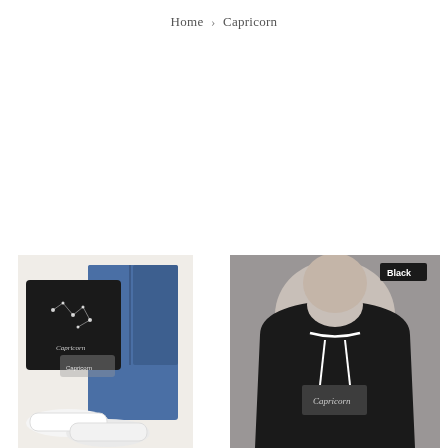Home > Capricorn
[Figure (photo): Flat lay of black Capricorn constellation graphic t-shirt folded next to blue jeans and white sneakers on a light background]
[Figure (photo): Person wearing black Capricorn sweatshirt with white drawstring, with 'Black' label tag visible in upper right corner]